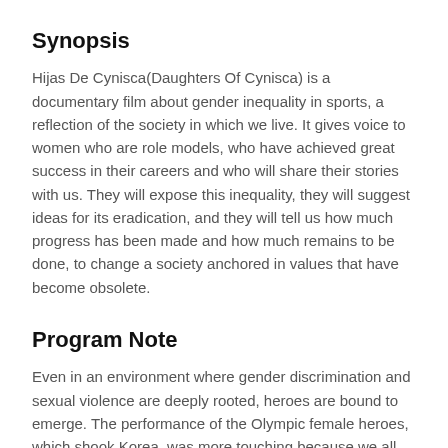Synopsis
Hijas De Cynisca(Daughters Of Cynisca) is a documentary film about gender inequality in sports, a reflection of the society in which we live. It gives voice to women who are role models, who have achieved great success in their careers and who will share their stories with us. They will expose this inequality, they will suggest ideas for its eradication, and they will tell us how much progress has been made and how much remains to be done, to change a society anchored in values that have become obsolete.
Program Note
Even in an environment where gender discrimination and sexual violence are deeply rooted, heroes are bound to emerge. The performance of the Olympic female heroes, which shook Korea, was more touching because we all know what difficulties they had to overcome. Then now is the time to change. Let's make the changes, so that more women can live in the better world.